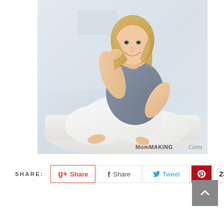[Figure (photo): A smiling blonde woman wearing a grey t-shirt and white wide-leg pants sitting cross-legged on a white couch, with her hand behind her head. Watermark reads 'MomMAKING Cents' in the lower right corner.]
SHARE:
Share (Google+) | Share (Facebook) | Tweet (Twitter) | 23 (Pinterest)